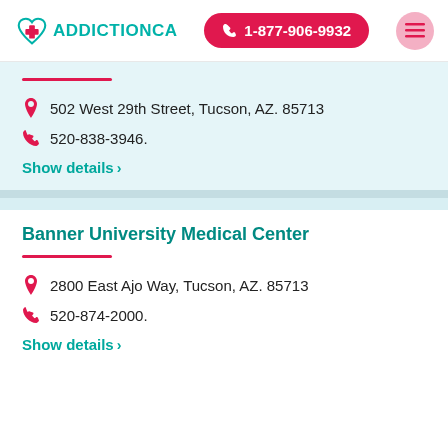ADDICTIONCA  1-877-906-9932
502 West 29th Street, Tucson, AZ. 85713
520-838-3946.
Show details ›
Banner University Medical Center
2800 East Ajo Way, Tucson, AZ. 85713
520-874-2000.
Show details ›